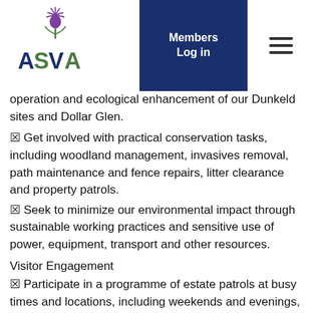ASVA | Members Log in
operation and ecological enhancement of our Dunkeld sites and Dollar Glen.
☒ Get involved with practical conservation tasks, including woodland management, invasives removal, path maintenance and fence repairs, litter clearance and property patrols.
☒ Seek to minimize our environmental impact through sustainable working practices and sensitive use of power, equipment, transport and other resources.
Visitor Engagement
☒ Participate in a programme of estate patrols at busy times and locations, including weekends and evenings, to engage with tourists, outdoor activity enthusiasts and campers, championing a “leave no trace” culture and providing practical advice based on the Scottish Outdoor Access Code.